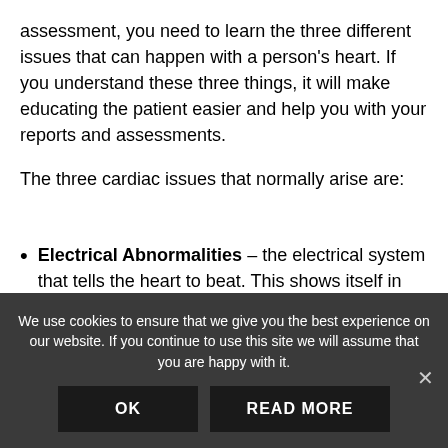assessment, you need to learn the three different issues that can happen with a person's heart. If you understand these three things, it will make educating the patient easier and help you with your reports and assessments.
The three cardiac issues that normally arise are:
Electrical Abnormalities – the electrical system that tells the heart to beat. This shows itself in heart arrhythmias, dysrhythmias, or a fib.
We use cookies to ensure that we give you the best experience on our website. If you continue to use this site we will assume that you are happy with it.